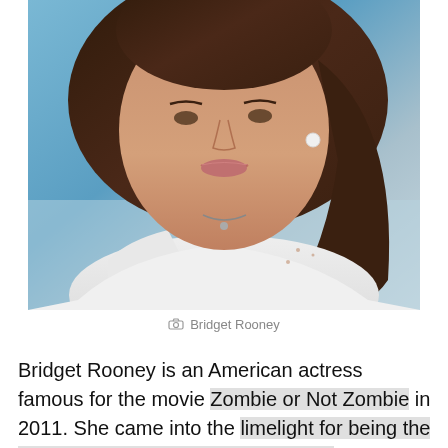[Figure (photo): Portrait photo of Bridget Rooney, a woman with long brown hair, wearing a white top, photographed outdoors with a blue sky background.]
Bridget Rooney
Bridget Rooney is an American actress famous for the movie Zombie or Not Zombie in 2011. She came into the limelight for being the mother of Kevin Costner's son Liam